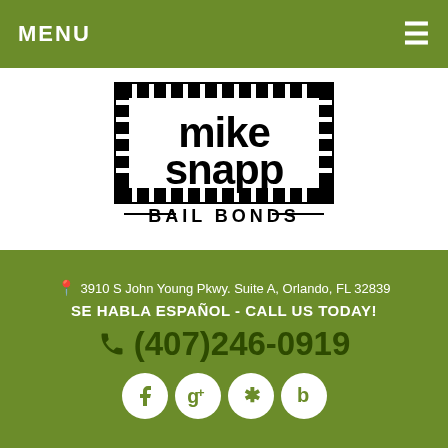MENU
[Figure (logo): Mike Snapp Bail Bonds logo — bold black text 'mike snapp' in a rectangular border with handcuff imagery, 'BAIL BONDS' below with decorative lines]
3910 S John Young Pkwy. Suite A, Orlando, FL 32839
SE HABLA ESPAÑOL - CALL US TODAY!
(407)246-0919
[Figure (infographic): Social media icons: Facebook, Google+, Yelp, Buzz — white circles with dark green icons]